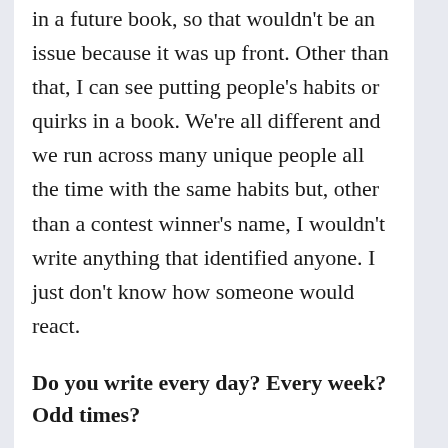in a future book, so that wouldn't be an issue because it was up front. Other than that, I can see putting people's habits or quirks in a book. We're all different and we run across many unique people all the time with the same habits but, other than a contest winner's name, I wouldn't write anything that identified anyone. I just don't know how someone would react.
Do you write every day? Every week? Odd times?
I definitely write every week and try to write every day. I haven't gotten my routine down where I could tell you I write thousands of words every day. Sometimes the words don't flow as easily as I'd like. I'm up early every morning writing before breakfast and sometimes I'm even at my